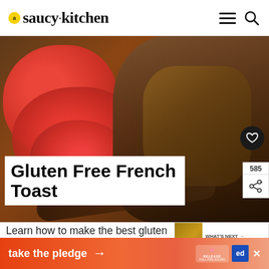saucy kitchen
[Figure (photo): Food photo showing gluten free French toast with sliced strawberries on a plate, with fork visible]
Gluten Free French Toast
Learn how to make the best gluten free French Toast! It's easy to make with basic kitchen tools that you probably already have simple
WHAT'S NEXT → Vegan + Gluten Free...
take the pledge →